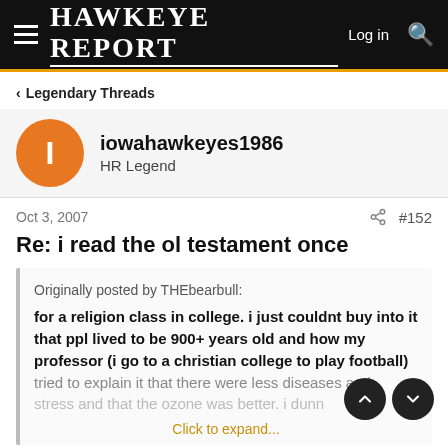HAWKEYE REPORT — Log in
< Legendary Threads
iowahawkeyes1986
HR Legend
Oct 3, 2007  #152
Re: i read the ol testament once
Originally posted by THEbearbull:
for a religion class in college. i just couldnt buy into it that ppl lived to be 900+ years old and how my professor (i go to a christian college to play football) tried to explain it that there were less diseases and stress and that the ozone was better. i dunn...
Click to expand...